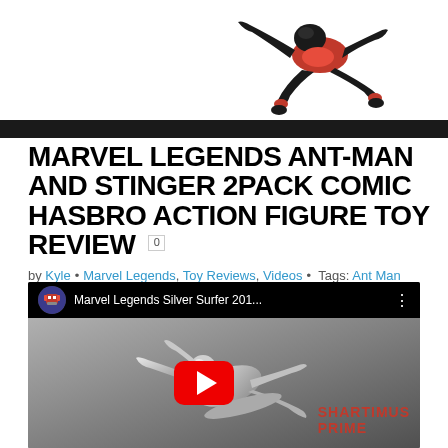[Figure (photo): Ant-Man action figure in a dynamic flying/kneeling pose, black and red costume, on white background]
MARVEL LEGENDS ANT-MAN AND STINGER 2PACK COMIC HASBRO ACTION FIGURE TOY REVIEW 0
by Kyle • Marvel Legends, Toy Reviews, Videos • Tags: Ant Man
[Figure (screenshot): YouTube video embed showing Marvel Legends Silver Surfer 201... video thumbnail with Silver Surfer action figure in silver metallic finish, YouTube play button overlay, Shartimus Prime logo watermark, channel icon in top left]